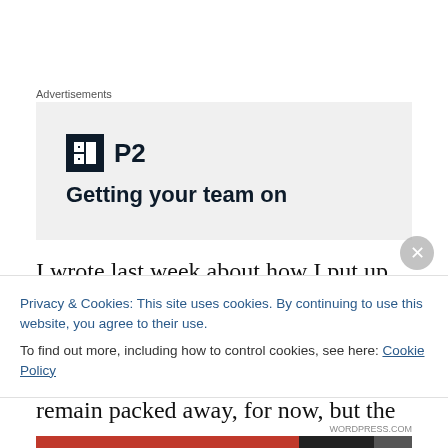Advertisements
[Figure (logo): P2 advertisement box with logo icon and headline text 'Getting your team on']
I wrote last week about how I put up my tiny tree, not the same as the big one we had for years, but still twinkly and lovely. Many of my ornaments remain packed away, for now, but the ones I've chosen all have deep and sweet
Privacy & Cookies: This site uses cookies. By continuing to use this website, you agree to their use.
To find out more, including how to control cookies, see here: Cookie Policy
Close and accept